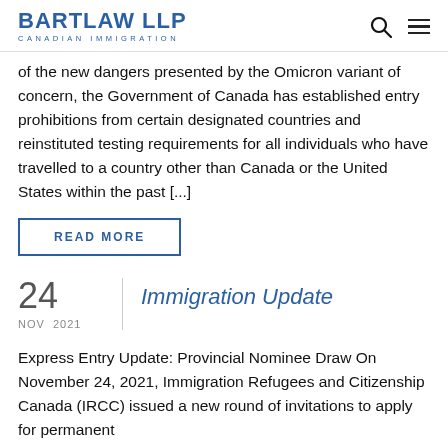BARTLAW LLP CANADIAN IMMIGRATION
of the new dangers presented by the Omicron variant of concern, the Government of Canada has established entry prohibitions from certain designated countries and reinstituted testing requirements for all individuals who have travelled to a country other than Canada or the United States within the past [...]
READ MORE
24 NOV 2021
Immigration Update
Express Entry Update: Provincial Nominee Draw On November 24, 2021, Immigration Refugees and Citizenship Canada (IRCC) issued a new round of invitations to apply for permanent